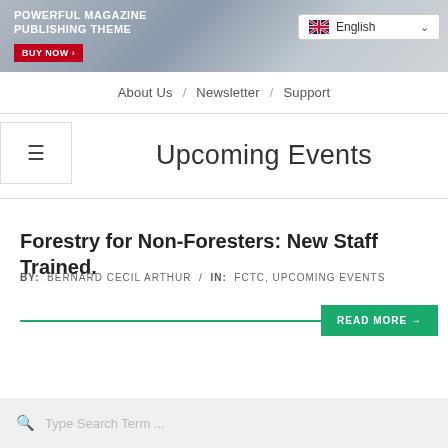[Figure (screenshot): Website banner with text 'POWERFUL MAGAZINE PUBLISHING THEME' and 'BUY NOW >' button on grey/blue gradient background, with English language selector on the right]
About Us / Newsletter / Support
Upcoming Events
Forestry for Non-Foresters: New Staff Trained.
BY: BERNARD CECIL ARTHUR / IN: FCTC, UPCOMING EVENTS
READ MORE →
Type Search Term ...